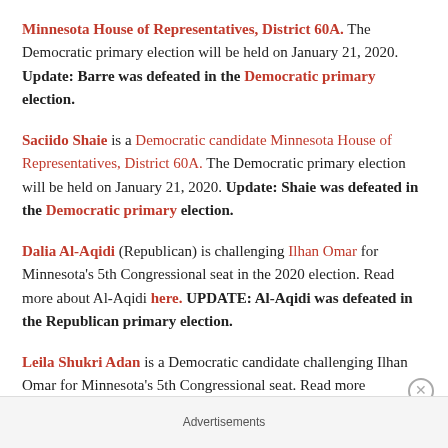Minnesota House of Representatives, District 60A. The Democratic primary election will be held on January 21, 2020. Update: Barre was defeated in the Democratic primary election.
Saciido Shaie is a Democratic candidate Minnesota House of Representatives, District 60A. The Democratic primary election will be held on January 21, 2020. Update: Shaie was defeated in the Democratic primary election.
Dalia Al-Aqidi (Republican) is challenging Ilhan Omar for Minnesota's 5th Congressional seat in the 2020 election. Read more about Al-Aqidi here. UPDATE: Al-Aqidi was defeated in the Republican primary election.
Leila Shukri Adan is a Democratic candidate challenging Ilhan Omar for Minnesota's 5th Congressional seat. Read more
Advertisements